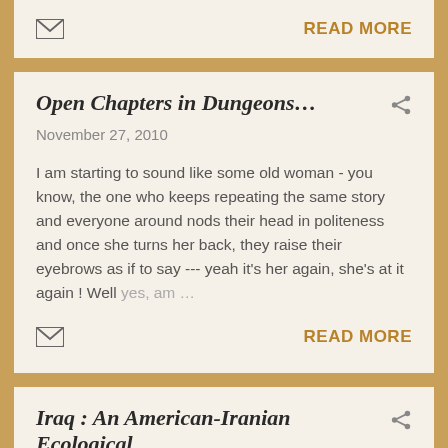READ MORE
Open Chapters in Dungeons…
November 27, 2010
I am starting to sound like some old woman - you know, the one who keeps repeating the same story and everyone around nods their head in politeness and once she turns her back, they raise their eyebrows as if to say --- yeah it's her again, she's at it again ! Well yes, am …
READ MORE
Iraq : An American-Iranian Ecological